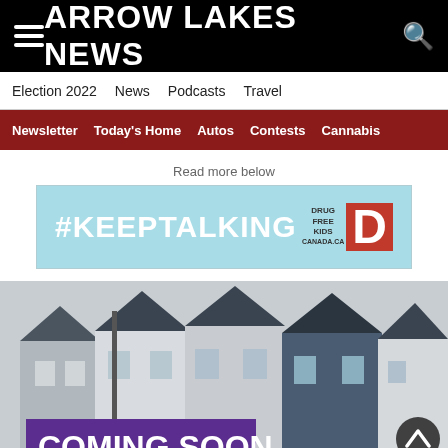ARROW LAKES NEWS
Election 2022  News  Podcasts  Travel
Newsletter  Today's Home  Autos  Contests  Cannabis
Read more below
[Figure (infographic): #KEEPTALKING Drug Free Kids Canada advertisement banner in light blue with red D logo]
[Figure (photo): Photo of suburban townhouses in the background with a purple 'COMING SOON' real estate sign in the foreground]